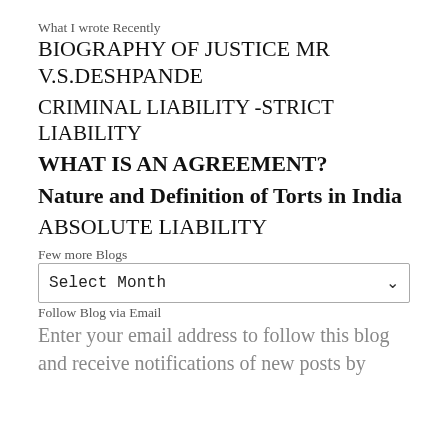What I wrote Recently
BIOGRAPHY OF JUSTICE MR V.S.DESHPANDE
CRIMINAL LIABILITY -STRICT LIABILITY
WHAT IS AN AGREEMENT?
Nature and Definition of Torts in India
ABSOLUTE LIABILITY
Few more Blogs
Select Month
Follow Blog via Email
Enter your email address to follow this blog and receive notifications of new posts by